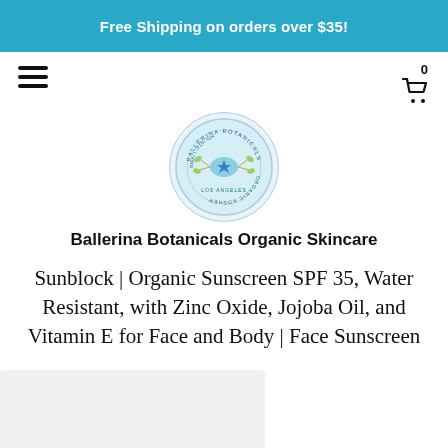Free Shipping on orders over $35!
[Figure (logo): Ballerina Botanicals circular logo with botanical illustration on light blue background]
Ballerina Botanicals Organic Skincare
Sunblock | Organic Sunscreen SPF 35, Water Resistant, with Zinc Oxide, Jojoba Oil, and Vitamin E for Face and Body | Face Sunscreen
[Figure (photo): Partial product image at bottom of page, light gray placeholder]